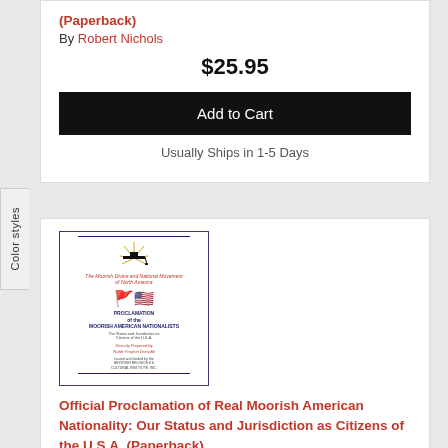(Paperback)
By Robert Nichols
$25.95
Add to Cart
Usually Ships in 1-5 Days
[Figure (illustration): Book cover of Official Proclamation of Real Moorish American Nationality with decorative border, graduation cap with sun rays, crossed flags (Moorish and American), and text in red and blue]
Official Proclamation of Real Moorish American Nationality: Our Status and Jurisdiction as Citizens of the U.S.A. (Paperback)
By Timothy Noble Drew Ali, Tauheedah S. Najee-Ullah El (Prepared by)
$23.99